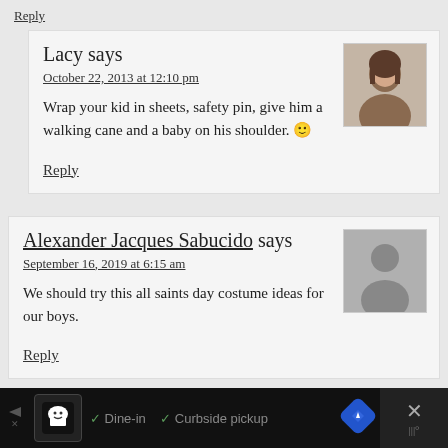Reply
Lacy says
October 22, 2013 at 12:10 pm
Wrap your kid in sheets, safety pin, give him a walking cane and a baby on his shoulder. 🙂
Reply
Alexander Jacques Sabucido says
September 16, 2019 at 6:15 am
We should try this all saints day costume ideas for our boys.
Reply
[Figure (other): Ad bar at the bottom with restaurant icon, Dine-in and Curbside pickup text, navigation and close button]